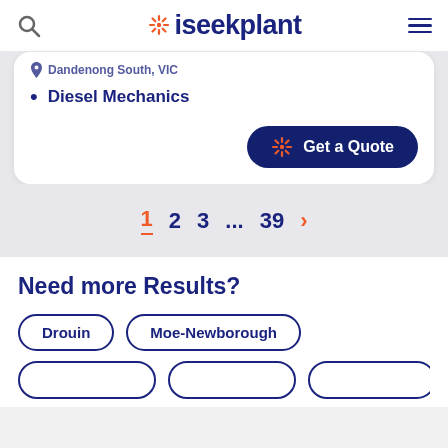iseekplant
Diesel Mechanics
Get a Quote
1  2  3  ...  39  >
Need more Results?
Drouin
Moe-Newborough